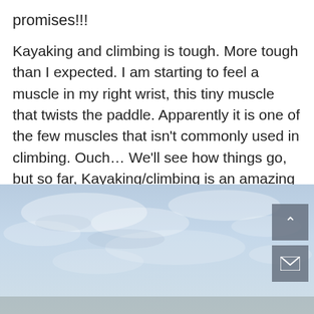promises!!!
Kayaking and climbing is tough. More tough than I expected. I am starting to feel a muscle in my right wrist, this tiny muscle that twists the paddle. Apparently it is one of the few muscles that isn't commonly used in climbing. Ouch… We'll see how things go, but so far, Kayaking/climbing is an amazing adventure.
[Figure (photo): Photograph of a hazy blue sky with light clouds, partially showing the top of a mountainous or outdoor scene. Scroll-up and email icon buttons are overlaid on the right side.]